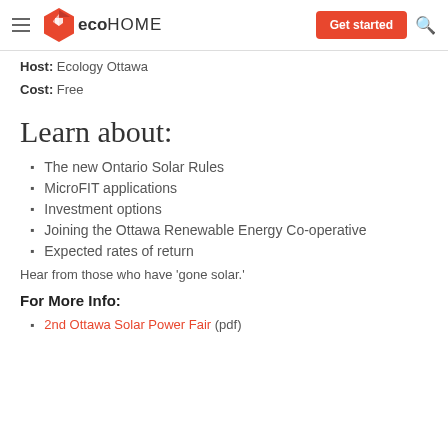eco HOME | Get started
Host: Ecology Ottawa
Cost: Free
Learn about:
The new Ontario Solar Rules
MicroFIT applications
Investment options
Joining the Ottawa Renewable Energy Co-operative
Expected rates of return
Hear from those who have 'gone solar.'
For More Info:
2nd Ottawa Solar Power Fair (pdf)